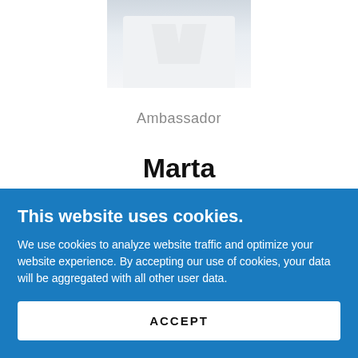[Figure (photo): Partial photo of a person in a white shirt, cropped at torso/shoulder level]
Ambassador
Marta
This website uses cookies.
We use cookies to analyze website traffic and optimize your website experience. By accepting our use of cookies, your data will be aggregated with all other user data.
ACCEPT